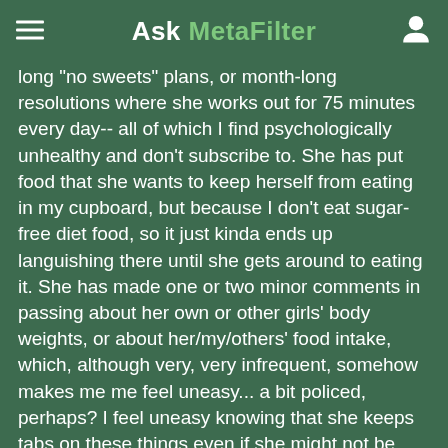Ask MetaFilter
long "no sweets" plans, or month-long resolutions where she works out for 75 minutes every day-- all of which I find psychologically unhealthy and don't subscribe to. She has put food that she wants to keep herself from eating in my cupboard, but because I don't eat sugar-free diet food, so it just kinda ends up languishing there until she gets around to eating it. She has made one or two minor comments in passing about her own or other girls' body weights, or about her/my/others' food intake, which, although very, very infrequent, somehow makes me me feel uneasy... a bit policed, perhaps? I feel uneasy knowing that she keeps tabs on these things even if she might not be overtly commenting on it all the time.
I have had some anxiety-related behaviors crop up recently-- namely, I have a hard time keeping my food down and